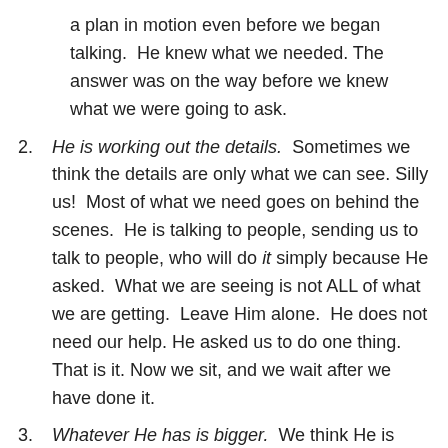a plan in motion even before we began talking. He knew what we needed. The answer was on the way before we knew what we were going to ask.
He is working out the details. Sometimes we think the details are only what we can see. Silly us! Most of what we need goes on behind the scenes. He is talking to people, sending us to talk to people, who will do it simply because He asked. What we are seeing is not ALL of what we are getting. Leave Him alone. He does not need our help. He asked us to do one thing. That is it. Now we sit, and we wait after we have done it.
Whatever He has is bigger. We think He is going to give us a better activity for the phone,